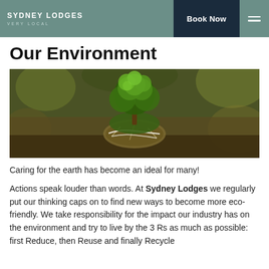SYDNEY LODGES VERY LOCAL — Book Now
Our Environment
[Figure (photo): A miniature green tree growing on top of a cracked glass globe/rock on a blurred earthy background, symbolizing environmental care.]
Caring for the earth has become an ideal for many!
Actions speak louder than words. At Sydney Lodges we regularly put our thinking caps on to find new ways to become more eco-friendly. We take responsibility for the impact our industry has on the environment and try to live by the 3 Rs as much as possible: first Reduce, then Reuse and finally Recycle